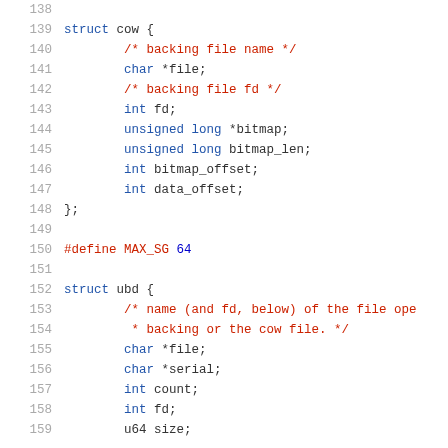138
139 struct cow {
140     /* backing file name */
141     char *file;
142     /* backing file fd */
143     int fd;
144     unsigned long *bitmap;
145     unsigned long bitmap_len;
146     int bitmap_offset;
147     int data_offset;
148 };
149
150 #define MAX_SG 64
151
152 struct ubd {
153     /* name (and fd, below) of the file ope
154      * backing or the cow file. */
155     char *file;
156     char *serial;
157     int count;
158     int fd;
159     u64 size;